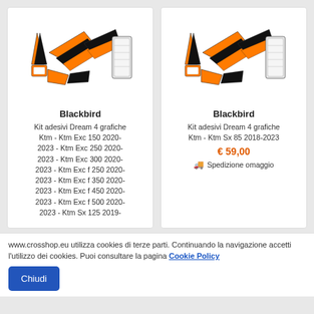[Figure (illustration): Motocross sticker kit parts laid out flat, orange, black and white colors - left product card]
Blackbird
Kit adesivi Dream 4 grafiche Ktm - Ktm Exc 150 2020-2023 - Ktm Exc 250 2020-2023 - Ktm Exc 300 2020-2023 - Ktm Exc f 250 2020-2023 - Ktm Exc f 350 2020-2023 - Ktm Exc f 450 2020-2023 - Ktm Exc f 500 2020-2023 - Ktm Sx 125 2019-
[Figure (illustration): Motocross sticker kit parts laid out flat, orange, black and white colors - right product card]
Blackbird
Kit adesivi Dream 4 grafiche Ktm - Ktm Sx 85 2018-2023
€ 59,00
Spedizione omaggio
www.crosshop.eu utilizza cookies di terze parti. Continuando la navigazione accetti l'utilizzo dei cookies. Puoi consultare la pagina Cookie Policy
Chiudi